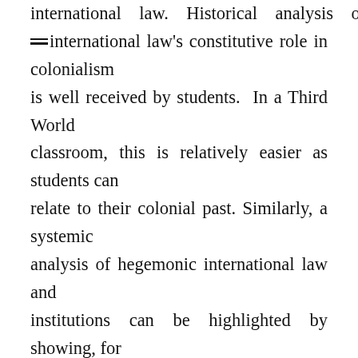international law. Historical analysis of international law's constitutive role in colonialism is well received by students. In a Third World classroom, this is relatively easier as students can relate to their colonial past. Similarly, a systemic analysis of hegemonic international law and institutions can be highlighted by showing, for example, the uneven membership of the UN Security Council. However, positivism remains intuitively plausible when the operation of rules of international law is examined in specific contexts, such as the necessity of consent for international treaty obligations, sovereign equality and collective security. In other words, positivism finds itself exposed in historical and systemic